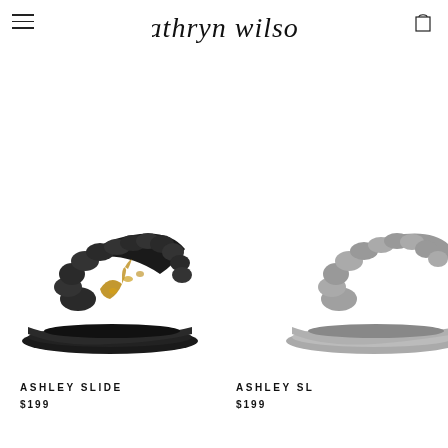Kathryn Wilson
[Figure (photo): Black fluffy slide slipper with gold deer/stag embroidery detail on the strap, viewed from slightly above at an angle. Dark sole.]
ASHLEY SLIDE
$199
[Figure (photo): Partial view of a second Ashley Slide slipper, partially cropped by right edge of page. Appears lighter/grey-toned.]
ASHLEY SL
$199